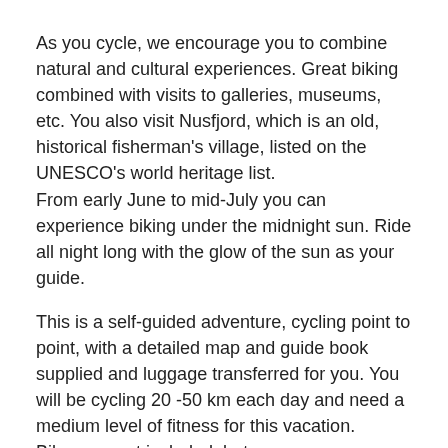As you cycle, we encourage you to combine natural and cultural experiences. Great biking combined with visits to galleries, museums, etc. You also visit Nusfjord, which is an old, historical fisherman's village, listed on the UNESCO's world heritage list.
From early June to mid-July you can experience biking under the midnight sun. Ride all night long with the glow of the sun as your guide.
This is a self-guided adventure, cycling point to point, with a detailed map and guide book supplied and luggage transferred for you. You will be cycling 20 -50 km each day and need a medium level of fitness for this vacation.
Bikes are not included, but we can arrange bike rental for you.
Accommodation in hotels and traditional fisherman's cabins. Even the food is an adventure. We like to call it a culinary journey or a voyage in the Arctic menu.
We can guarantee a memorable trip with wonderful experiences.